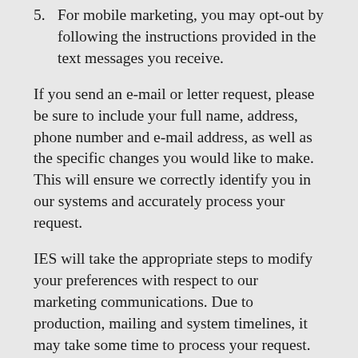5. For mobile marketing, you may opt-out by following the instructions provided in the text messages you receive.
If you send an e-mail or letter request, please be sure to include your full name, address, phone number and e-mail address, as well as the specific changes you would like to make. This will ensure we correctly identify you in our systems and accurately process your request.
IES will take the appropriate steps to modify your preferences with respect to our marketing communications. Due to production, mailing and system timelines, it may take some time to process your request. The following guidelines are provided for your convenience.